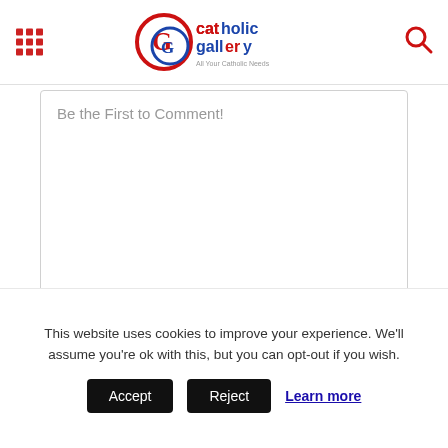Catholic Gallery — All Your Catholic Needs
Be the First to Comment!
[Figure (screenshot): Image upload icon button]
Name*
Email*
This website uses cookies to improve your experience. We'll assume you're ok with this, but you can opt-out if you wish.
Accept
Reject
Learn more